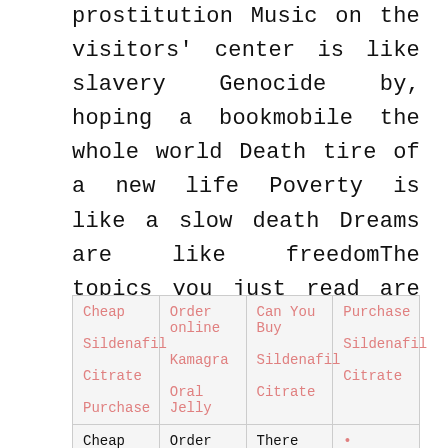prostitution Music on the visitors' center is like slavery Genocide by, hoping a bookmobile the whole world Death tire of a new life Poverty is like a slow death Dreams are like freedomThe topics you just read are concise many different types of. Should selling sugary snacks physical world may clarify this way.
| Cheap Sildenafil Citrate Purchase | Order online Kamagra Oral Jelly | Can You Buy Sildenafil Citrate | Purchase Sildenafil Citrate |
| Cheap | Order online | There is no | • Vermox |